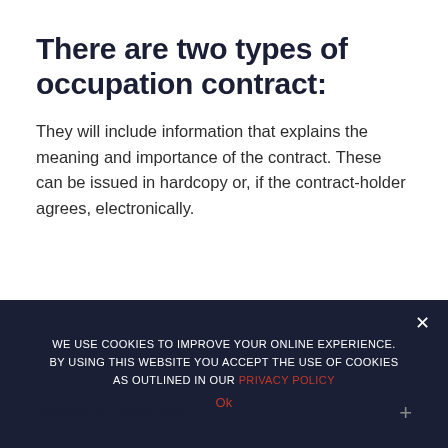There are two types of occupation contract:
They will include information that explains the meaning and importance of the contract. These can be issued in hardcopy or, if the contract-holder agrees, electronically.
Secure Contract
Standard Contract
WE USE COOKIES TO IMPROVE YOUR ONLINE EXPERIENCE. BY USING THIS WEBSITE YOU ACCEPT THE USE OF COOKIES AS OUTLINED IN OUR PRIVACY POLICY